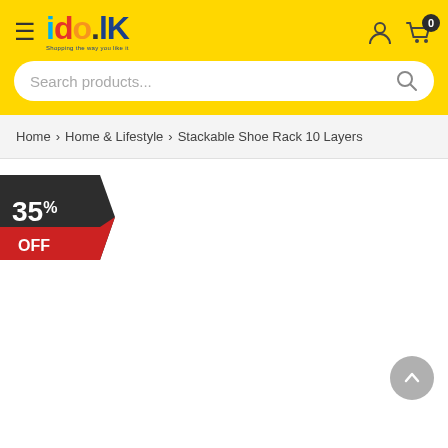ido.lk - Shopping the way you like it
Search products...
Home > Home & Lifestyle > Stackable Shoe Rack 10 Layers
[Figure (infographic): 35% OFF discount badge in dark grey and red colors]
[Figure (infographic): Scroll to top circular grey button with upward arrow]